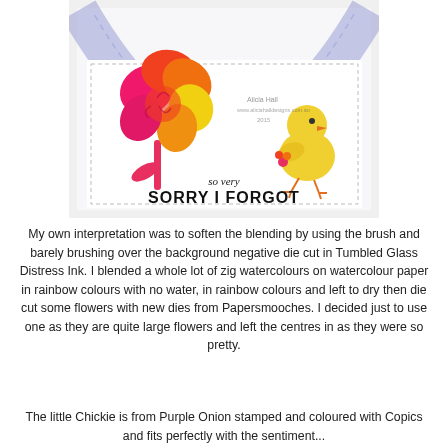[Figure (photo): A greeting card featuring a large rainbow-coloured flower die cut in pink, red, orange and yellow tones on the left, a purple arc/rainbow in the background, a cute yellow chick holding a small flower on the right, and the sentiment 'so very SORRY I FORGOT' at the bottom of the card.]
My own interpretation was to soften the blending by using the brush and barely brushing over the background negative die cut in Tumbled Glass Distress Ink. I blended a whole lot of zig watercolours on watercolour paper in rainbow colours with no water, in rainbow colours and left to dry then die cut some flowers with new dies from Papersmooches. I decided just to use one as they are quite large flowers and left the centres in as they were so pretty.
The little Chickie is from Purple Onion stamped and coloured with Copics and fits perfectly with the sentiment...